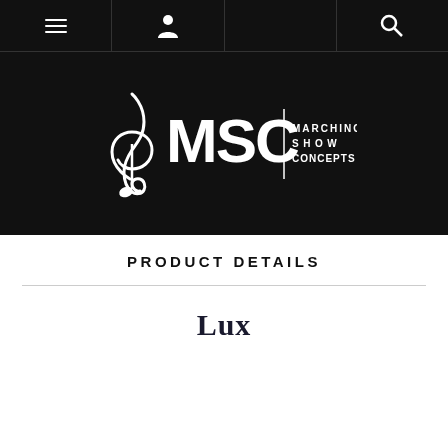Navigation bar with menu, user, and search icons
[Figure (logo): MSC Marching Show Concepts logo — white treble clef with MSC letters and tagline on black background]
PRODUCT DETAILS
Lux